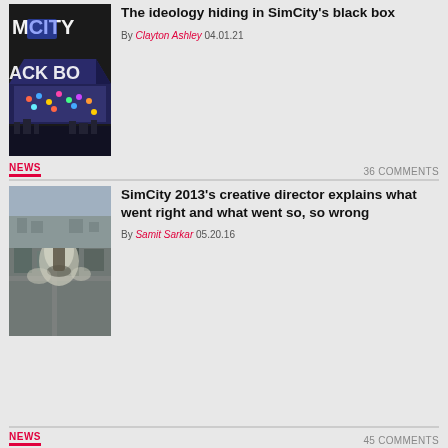[Figure (photo): SimCity black box promotional image with MCITY and ACK BO text visible, showing a city in a dark box]
The ideology hiding in SimCity's black box
By Clayton Ashley 04.01.21
NEWS
36 COMMENTS
[Figure (photo): SimCity 2013 aerial screenshot showing city destruction with a giant monster or disaster]
SimCity 2013's creative director explains what went right and what went so, so wrong
By Samit Sarkar 05.20.16
NEWS
45 COMMENTS